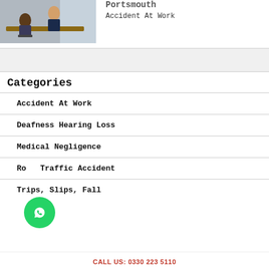[Figure (photo): Two people sitting at a desk in a business meeting, office setting with large windows]
Portsmouth
Accident At Work
Categories
Accident At Work
Deafness Hearing Loss
Medical Negligence
Road Traffic Accident
Trips, Slips, Fall
CALL US: 0330 223 5110